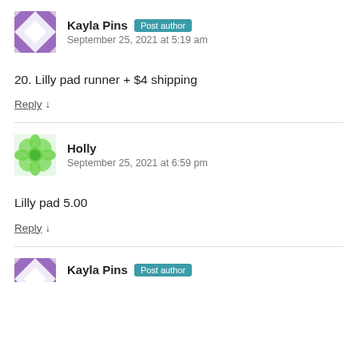[Figure (illustration): Purple quilting block avatar for Kayla Pins]
Kayla Pins Post author
September 25, 2021 at 5:19 am
20. Lilly pad runner + $4 shipping
Reply ↓
[Figure (illustration): Green flower/bug avatar for Holly]
Holly
September 25, 2021 at 6:59 pm
Lilly pad 5.00
Reply ↓
[Figure (illustration): Purple quilting block avatar for Kayla Pins (partial)]
Kayla Pins Post author